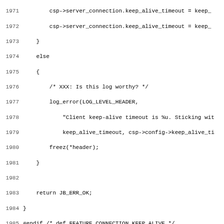Source code listing lines 1971-2003, showing C code for keep_alive_timeout handling and get_content_length function documentation block